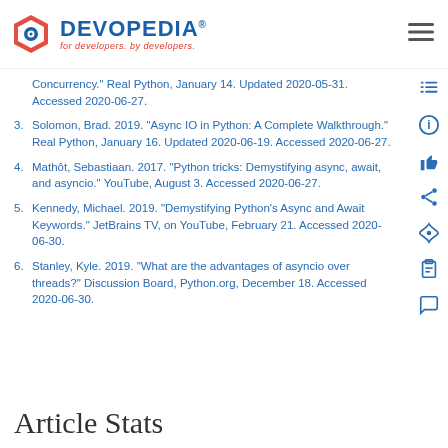DEVOPEDIA® — for developers. by developers.
Concurrency." Real Python, January 14. Updated 2020-05-31. Accessed 2020-06-27.
3. Solomon, Brad. 2019. "Async IO in Python: A Complete Walkthrough." Real Python, January 16. Updated 2020-06-19. Accessed 2020-06-27.
4. Mathôt, Sebastiaan. 2017. "Python tricks: Demystifying async, await, and asyncio." YouTube, August 3. Accessed 2020-06-27.
5. Kennedy, Michael. 2019. "Demystifying Python's Async and Await Keywords." JetBrains TV, on YouTube, February 21. Accessed 2020-06-30.
6. Stanley, Kyle. 2019. "What are the advantages of asyncio over threads?" Discussion Board, Python.org, December 18. Accessed 2020-06-30.
Article Stats